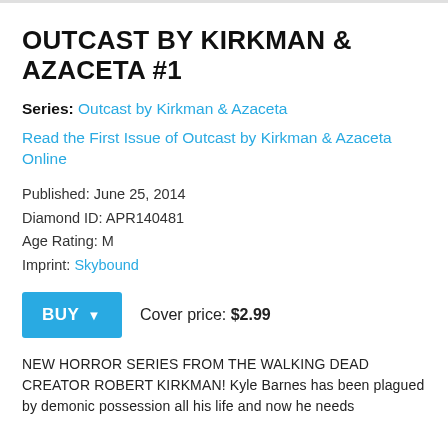OUTCAST BY KIRKMAN & AZACETA #1
Series: Outcast by Kirkman & Azaceta
Read the First Issue of Outcast by Kirkman & Azaceta Online
Published: June 25, 2014
Diamond ID: APR140481
Age Rating: M
Imprint: Skybound
Cover price: $2.99
NEW HORROR SERIES FROM THE WALKING DEAD CREATOR ROBERT KIRKMAN! Kyle Barnes has been plagued by demonic possession all his life and now he needs